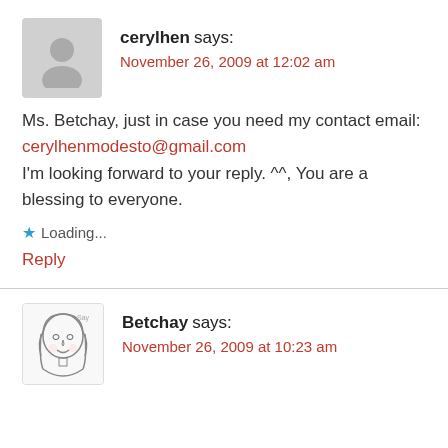cerylhen says:
November 26, 2009 at 12:02 am
Ms. Betchay, just in case you need my contact email: cerylhenmodesto@gmail.com I'm looking forward to your reply. ^^, You are a blessing to everyone.
Loading...
Reply
Betchay says:
November 26, 2009 at 10:23 am